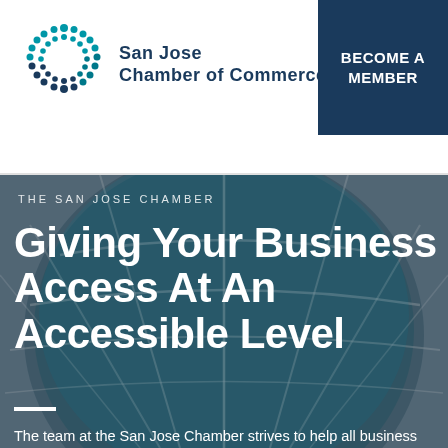[Figure (logo): San Jose Chamber of Commerce logo — circular C shape in teal/dark blue dots on left, bold text 'San Jose Chamber of Commerce' on right]
BECOME A MEMBER
[Figure (photo): Architectural dome structure with blue glass panels and white support ribs, seen from below against a grey sky]
THE SAN JOSE CHAMBER
Giving Your Business Access At An Accessible Level
The team at the San Jose Chamber strives to help all business succeed by providing you access to key corporate services at rates that are accessible to all business levels and types. We look forward to having you join hundreds of your fellow San Jose...